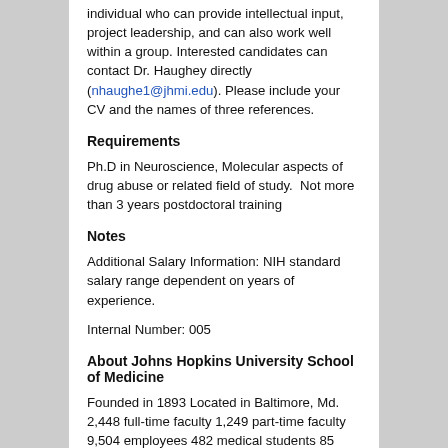individual who can provide intellectual input, project leadership, and can also work well within a group. Interested candidates can contact Dr. Haughey directly (nhaughe1@jhmi.edu). Please include your CV and the names of three references.
Requirements
Ph.D in Neuroscience, Molecular aspects of drug abuse or related field of study.  Not more than 3 years postdoctoral training
Notes
Additional Salary Information: NIH standard salary range dependent on years of experience.
Internal Number: 005
About Johns Hopkins University School of Medicine
Founded in 1893 Located in Baltimore, Md. 2,448 full-time faculty 1,249 part-time faculty 9,504 employees 482 medical students 85 percent of students receive financial aid Consistently ranked